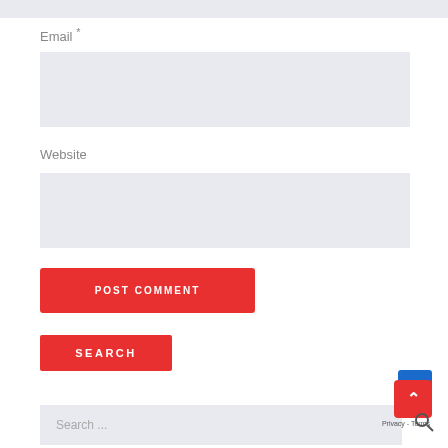Email *
[Figure (screenshot): Email input field (empty, light grey background)]
Website
[Figure (screenshot): Website input field (empty, light grey background)]
[Figure (screenshot): POST COMMENT red button]
[Figure (screenshot): SEARCH red button]
[Figure (screenshot): Search input bar with placeholder text 'Search ...' and a scroll-to-top red button with up arrow]